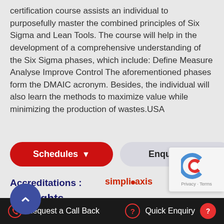certification course assists an individual to purposefully master the combined principles of Six Sigma and Lean Tools. The course will help in the development of a comprehensive understanding of the Six Sigma phases, which include: Define Measure Analyse Improve Control The aforementioned phases form the DMAIC acronym. Besides, the individual will also learn the methods to maximize value while minimizing the production of wastes.USA
[Figure (other): Two buttons: red 'Schedules' button with down arrow, and grey 'Enquire Now' button]
Accreditations :
[Figure (logo): simpliaxis logo in red text]
[Figure (other): reCAPTCHA widget showing blue C logo with Privacy - Terms text]
Highlights
[Figure (other): Blue circular scroll-up button]
[Figure (other): Gear/people icon]
15+ Years
Request a Call Back   Quick Enquiry